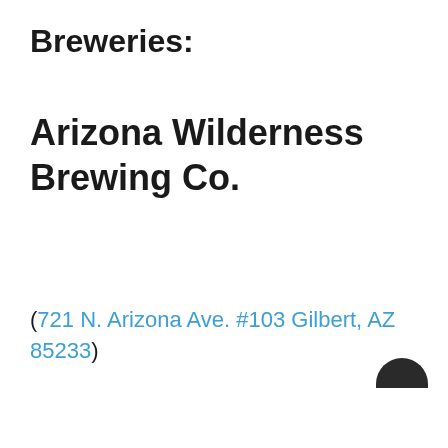Breweries:
Arizona Wilderness Brewing Co.
(721 N. Arizona Ave. #103 Gilbert, AZ 85233)